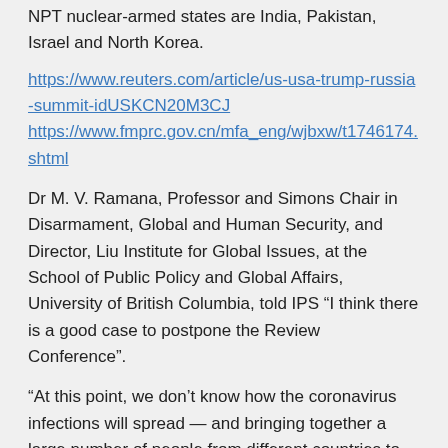NPT nuclear-armed states are India, Pakistan, Israel and North Korea.
https://www.reuters.com/article/us-usa-trump-russia-summit-idUSKCN20M3CJ
https://www.fmprc.gov.cn/mfa_eng/wjbxw/t1746174.shtml
Dr M. V. Ramana, Professor and Simons Chair in Disarmament, Global and Human Security, and Director, Liu Institute for Global Issues, at the School of Public Policy and Global Affairs, University of British Columbia, told IPS “I think there is a good case to postpone the Review Conference”.
“At this point, we don’t know how the coronavirus infections will spread — and bringing together a large number of people from different countries to one building definitely contributes a level of risk”.